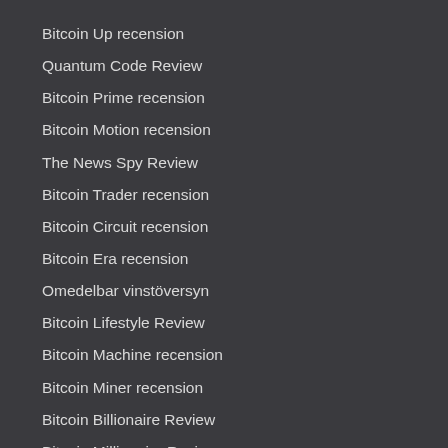Bitcoin Up recension
Quantum Code Review
Bitcoin Prime recension
Bitcoin Motion recension
The News Spy Review
Bitcoin Trader recension
Bitcoin Circuit recension
Bitcoin Era recension
Omedelbar vinstöversyn
Bitcoin Lifestyle Review
Bitcoin Machine recension
Bitcoin Miner recension
Bitcoin Billionaire Review
Bitcoin Millionaire Review
Bitcoin Superstar recension